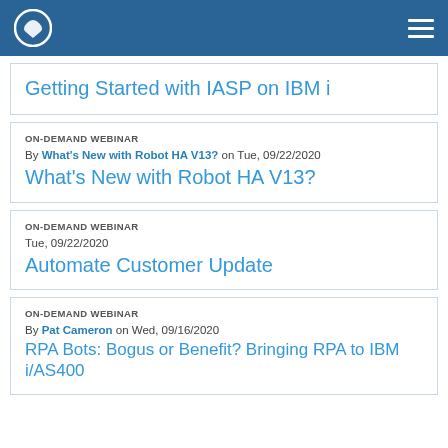Getting Started with IASP on IBM i
ON-DEMAND WEBINAR
By What's New with Robot HA V13? on Tue, 09/22/2020
What's New with Robot HA V13?
ON-DEMAND WEBINAR
Tue, 09/22/2020
Automate Customer Update
ON-DEMAND WEBINAR
By Pat Cameron on Wed, 09/16/2020
RPA Bots: Bogus or Benefit? Bringing RPA to IBM i/AS400